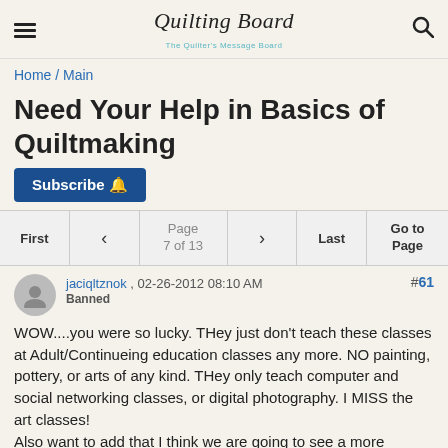Quilting Board — The Quilter's Message Board
Home / Main
Need Your Help in Basics of Quiltmaking
Subscribe
First  <  Page 7 of 13  >  Last  Go to Page
jaciqltznok , 02-26-2012 08:10 AM  Banned  #61
WOW....you were so lucky. THey just don't teach these classes at Adult/Continueing education classes any more. NO painting, pottery, or arts of any kind. THey only teach computer and social networking classes, or digital photography. I MISS the art classes!
Also want to add that I think we are going to see a more